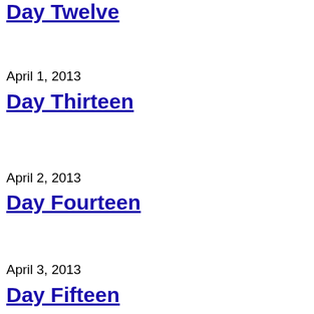Day Twelve
April 1, 2013
Day Thirteen
April 2, 2013
Day Fourteen
April 3, 2013
Day Fifteen